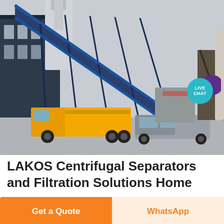[Figure (photo): Industrial facility scene showing a large blue diagonal conveyor or ramp structure, a yellow flatbed truck, and a pickup truck in the foreground, with industrial buildings in the background. A teal 'LIVE CHAT' badge with a speech bubble icon overlays the top right of the image.]
LAKOS Centrifugal Separators and Filtration Solutions Home
Manufacturers of centrifugal separators and other
Get a Quote
WhatsApp